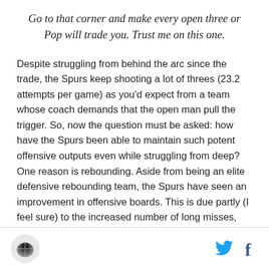Go to that corner and make every open three or Pop will trade you. Trust me on this one.
Despite struggling from behind the arc since the trade, the Spurs keep shooting a lot of threes (23.2 attempts per game) as you'd expect from a team whose coach demands that the open man pull the trigger. So, now the question must be asked: how have the Spurs been able to maintain such potent offensive outputs even while struggling from deep? One reason is rebounding. Aside from being an elite defensive rebounding team, the Spurs have seen an improvement in offensive boards. This is due partly (I feel sure) to the increased number of long misses, but DeJuan Blair's and Kawhi
[logo] [twitter] [facebook]